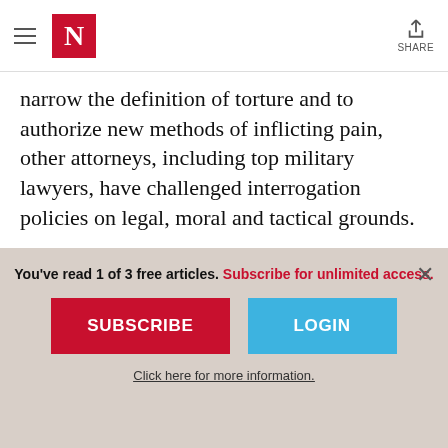The Nation — N logo, hamburger menu, share button
narrow the definition of torture and to authorize new methods of inflicting pain, other attorneys, including top military lawyers, have challenged interrogation policies on legal, moral and tactical grounds.
And so the B-side to the torture music issue flips to the music community's response to the practice. While many musicians may not
You've read 1 of 3 free articles. Subscribe for unlimited access.
SUBSCRIBE
LOGIN
Click here for more information.